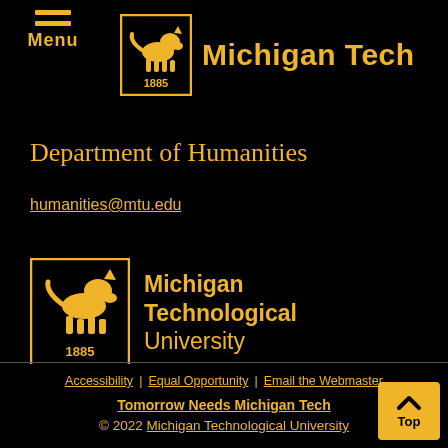Menu | Michigan Tech
[Figure (logo): Michigan Tech logo with wolf and 1885, header version]
Department of Humanities
humanities@mtu.edu
[Figure (logo): Michigan Technological University full logo with wolf and 1885]
Accessibility | Equal Opportunity | Email the Webmaster | Tomorrow Needs Michigan Tech | © 2022 Michigan Technological University